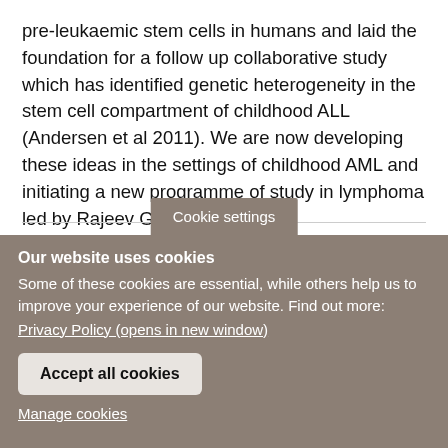pre-leukaemic stem cells in humans and laid the foundation for a follow up collaborative study which has identified genetic heterogeneity in the stem cell compartment of childhood ALL (Andersen et al 2011). We are now developing these ideas in the settings of childhood AML and initiating a new programme of study in lymphoma led by Rajeev Gupta.
Cookie settings
Our website uses cookies
Some of these cookies are essential, while others help us to improve your experience of our website. Find out more:
Privacy Policy (opens in new window)

Accept all cookies
Manage cookies